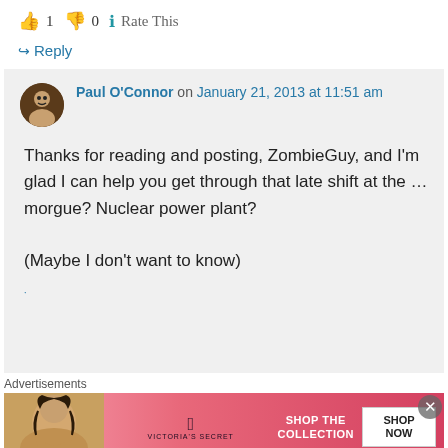👍 1 👎 0 ℹ Rate This
↪ Reply
Paul O'Connor on January 21, 2013 at 11:51 am
Thanks for reading and posting, ZombieGuy, and I'm glad I can help you get through that late shift at the … morgue? Nuclear power plant?

(Maybe I don't want to know)
Advertisements
[Figure (photo): Victoria's Secret advertisement banner with woman photo, VS logo, 'SHOP THE COLLECTION' text and 'SHOP NOW' button]